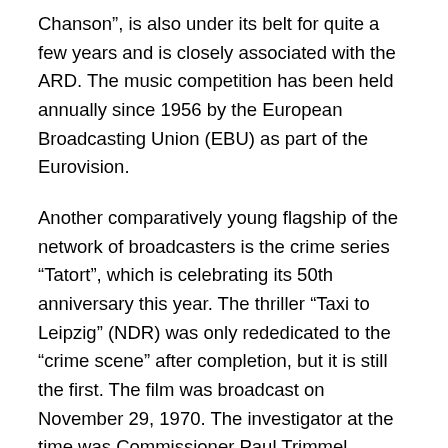Chanson", is also under its belt for quite a few years and is closely associated with the ARD. The music competition has been held annually since 1956 by the European Broadcasting Union (EBU) as part of the Eurovision.
Another comparatively young flagship of the network of broadcasters is the crime series “Tatort”, which is celebrating its 50th anniversary this year. The thriller “Taxi to Leipzig” (NDR) was only rededicated to the “crime scene” after completion, but it is still the first. The film was broadcast on November 29, 1970. The investigator at the time was Commissioner Paul Trimmel, embodied by the Berlin actor Walter Richter (1905-1985). A crossover double episode from Munich and Dortmund is in the works for the anniversary in autumn 2022.
But before major social and sporting events and